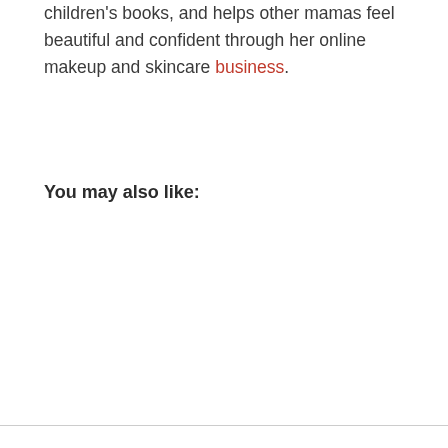children's books, and helps other mamas feel beautiful and confident through her online makeup and skincare business.
You may also like: